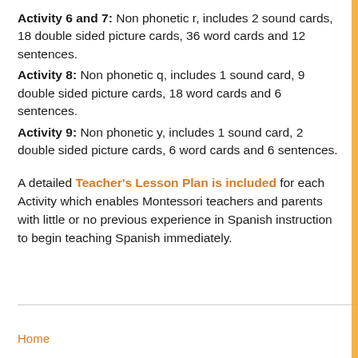Activity 6 and 7: Non phonetic r, includes 2 sound cards, 18 double sided picture cards, 36 word cards and 12 sentences.
Activity 8: Non phonetic q, includes 1 sound card, 9 double sided picture cards, 18 word cards and 6 sentences.
Activity 9: Non phonetic y, includes 1 sound card, 2 double sided picture cards, 6 word cards and 6 sentences.
A detailed Teacher's Lesson Plan is included for each Activity which enables Montessori teachers and parents with little or no previous experience in Spanish instruction to begin teaching Spanish immediately.
Home